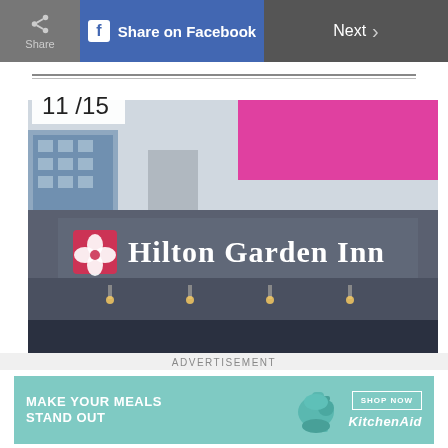Share | Share on Facebook | Next >
11 /15
[Figure (photo): Exterior photo of a Hilton Garden Inn hotel entrance showing the large sign with the Hilton Garden Inn logo and name, with gray canopy structure, city buildings in background and a pink/magenta billboard visible above.]
ADVERTISEMENT
[Figure (other): KitchenAid advertisement banner with teal background. Text reads MAKE YOUR MEALS STAND OUT with a teal stand mixer illustration, a SHOP NOW button, and the KitchenAid logo.]